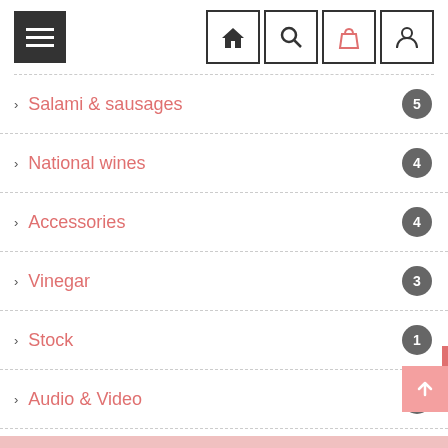[Figure (screenshot): Navigation header with hamburger menu button and four icon buttons: home, search, shopping bag, user profile]
Salami & sausages — 5
National wines — 4
Accessories — 4
Vinegar — 3
Stock — 1
Audio & Video — 1